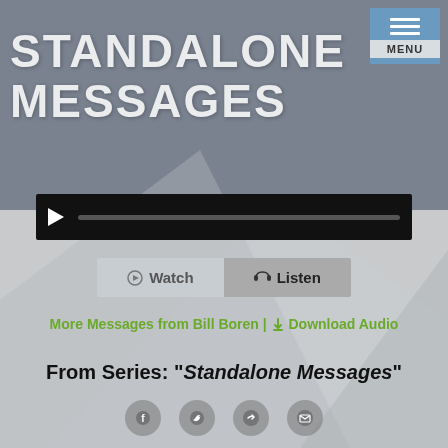[Figure (screenshot): Hero banner with large white bold text 'STANDALONE MESSAGES' on a dark grey/blue geometric background]
STANDALONE MESSAGES
[Figure (screenshot): Audio player bar: black background with white play triangle and grey progress track]
Watch | Listen
More Messages from Bill Boren | Download Audio
From Series: "Standalone Messages"
[Figure (screenshot): Row of four circular social sharing icons]